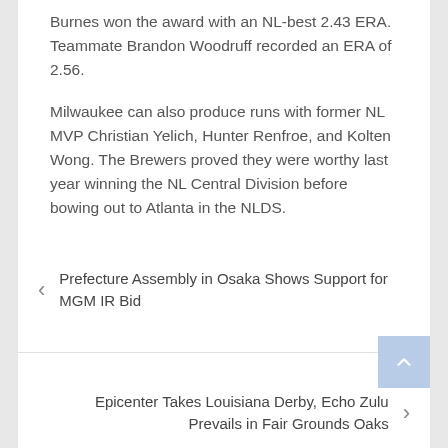Burnes won the award with an NL-best 2.43 ERA. Teammate Brandon Woodruff recorded an ERA of 2.56.
Milwaukee can also produce runs with former NL MVP Christian Yelich, Hunter Renfroe, and Kolten Wong. The Brewers proved they were worthy last year winning the NL Central Division before bowing out to Atlanta in the NLDS.
Prefecture Assembly in Osaka Shows Support for MGM IR Bid
Epicenter Takes Louisiana Derby, Echo Zulu Prevails in Fair Grounds Oaks